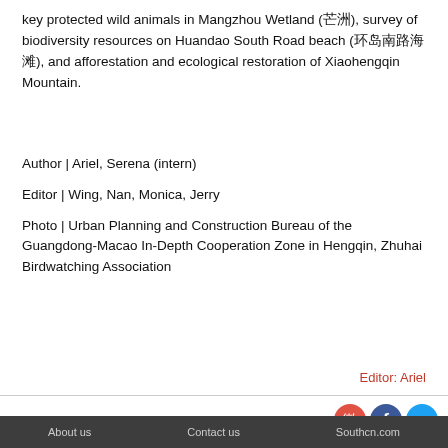key protected wild animals in Mangzhou Wetland (芒洲), survey of biodiversity resources on Huandao South Road beach (环岛南路海滩), and afforestation and ecological restoration of Xiaohengqin Mountain.
Author | Ariel, Serena (intern)
Editor | Wing, Nan, Monica, Jerry
Photo | Urban Planning and Construction Bureau of the Guangdong-Macao In-Depth Cooperation Zone in Hengqin, Zhuhai Birdwatching Association
Editor: Ariel
About us   Contact us   Southcn.com